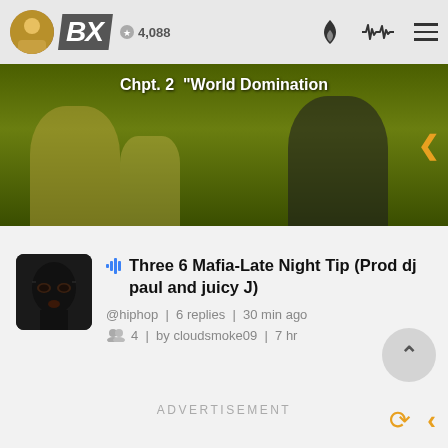BX | 4,088
[Figure (screenshot): Banner image showing Chpt. 2 World Domination with dark olive/green background and figures]
Three 6 Mafia-Late Night Tip (Prod dj paul and juicy J)
@hiphop | 6 replies | 30 min ago
4 | by cloudsmoke09 | 7 hr
ADVERTISEMENT